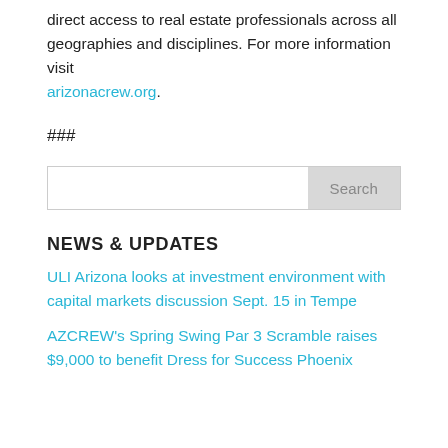direct access to real estate professionals across all geographies and disciplines. For more information visit arizonacrew.org.
###
Search
NEWS & UPDATES
ULI Arizona looks at investment environment with capital markets discussion Sept. 15 in Tempe
AZCREW's Spring Swing Par 3 Scramble raises $9,000 to benefit Dress for Success Phoenix